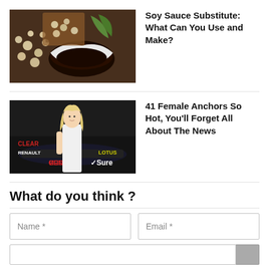[Figure (photo): Photo of soy sauce in a white bowl with soybeans and green leaves on a dark background]
Soy Sauce Substitute: What Can You Use and Make?
[Figure (photo): Photo of a blonde woman in a white dress standing in front of a Formula 1 car with CLEAR, RENAULT, and Sure branding]
41 Female Anchors So Hot, You’ll Forget All About The News
What do you think ?
Name *
Email *